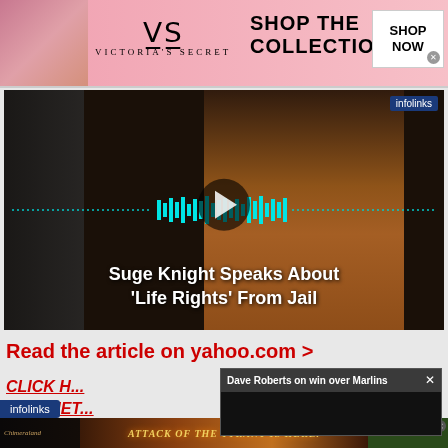[Figure (screenshot): Victoria's Secret advertisement banner with pink background, model, VS logo, and 'SHOP THE COLLECTION / SHOP NOW' text]
[Figure (screenshot): Video player showing Suge Knight in orange jumpsuit with audio waveform visualization and play button. Caption reads: Suge Knight Speaks About 'Life Rights' From Jail. Infolinks badge top right.]
Read the article on yahoo.com >
[Figure (screenshot): Overlay popup: 'Dave Roberts on win over Marlins' with X close button and dark video area below]
CLICK H... RATCHET...
[Figure (screenshot): Chimeraland advertisement: 'Attack of the Tyrant Is Here. The Beasts Roam Free.' with Download Now button and app store badges]